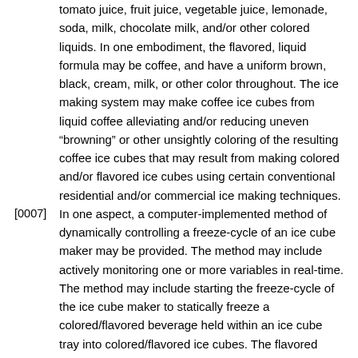tomato juice, fruit juice, vegetable juice, lemonade, soda, milk, chocolate milk, and/or other colored liquids. In one embodiment, the flavored, liquid formula may be coffee, and have a uniform brown, black, cream, milk, or other color throughout. The ice making system may make coffee ice cubes from liquid coffee alleviating and/or reducing uneven “browning” or other unsightly coloring of the resulting coffee ice cubes that may result from making colored and/or flavored ice cubes using certain conventional residential and/or commercial ice making techniques.
[0007] In one aspect, a computer-implemented method of dynamically controlling a freeze-cycle of an ice cube maker may be provided. The method may include actively monitoring one or more variables in real-time. The method may include starting the freeze-cycle of the ice cube maker to statically freeze a colored/flavored beverage held within an ice cube tray into colored/flavored ice cubes. The flavored beverage may have a non-clear color. The method may include counting a current length of